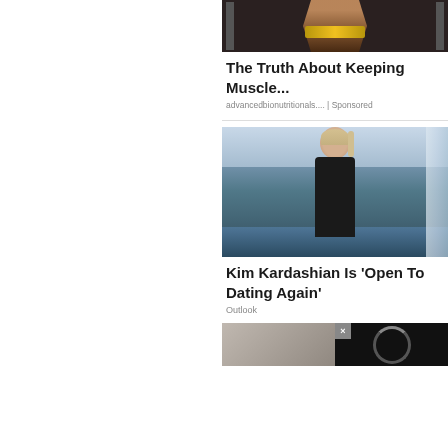[Figure (photo): Gym photo showing muscular arms and torso with a golden weightlifting belt, gym equipment in background]
The Truth About Keeping Muscle...
advancedbionutritionals.... | Sponsored
[Figure (photo): Woman in black turtleneck standing near ocean/sea, with window visible on right side]
Kim Kardashian Is 'Open To Dating Again'
Outlook
[Figure (photo): Partial view of interior scene with video player overlay showing loading spinner and close button]